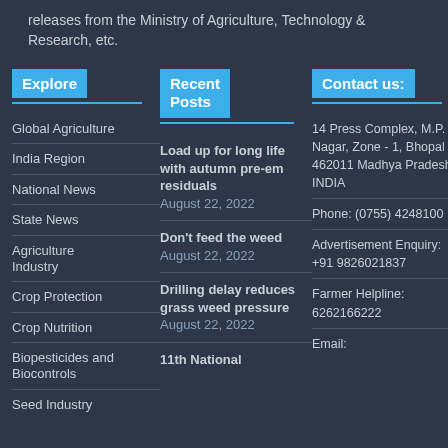releases from the Ministry of Agriculture, Technology & Research, etc.
Explore
Recent Posts
Contact us:
Global Agriculture
India Region
National News
State News
Agriculture Industry
Crop Protection
Crop Nutrition
Biopesticides and Biocontrols
Seed Industry
Load up for long life with autumn pre-em residuals August 22, 2022
Don't feed the weed August 22, 2022
Drilling delay reduces grass weed pressure August 22, 2022
11th National
14 Press Complex, M.P. Nagar, Zone - 1, Bhopal - 462011 Madhya Pradesh INDIA
Phone: (0755) 4248100
Advertisement Enquiry: +91 9826021837
Farmer Helpline: 6262166222
Email: